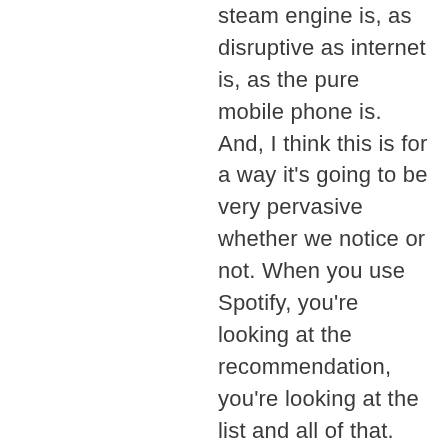steam engine is, as disruptive as internet is, as the pure mobile phone is. And, I think this is for a way it's going to be very pervasive whether we notice or not. When you use Spotify, you're looking at the recommendation, you're looking at the list and all of that. So, it's already there across the board for the last, I would say last 10 years and because of the cloud computing costs, [inaudible] the storage cost has reduced, the amount of data that we are getting, I think we are able to run several sophisticated machine learning algorithms, which is not